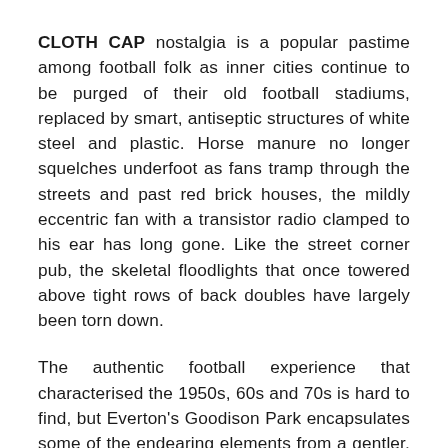CLOTH CAP nostalgia is a popular pastime among football folk as inner cities continue to be purged of their old football stadiums, replaced by smart, antiseptic structures of white steel and plastic. Horse manure no longer squelches underfoot as fans tramp through the streets and past red brick houses, the mildly eccentric fan with a transistor radio clamped to his ear has long gone. Like the street corner pub, the skeletal floodlights that once towered above tight rows of back doubles have largely been torn down.
The authentic football experience that characterised the 1950s, 60s and 70s is hard to find, but Everton's Goodison Park encapsulates some of the endearing elements from a gentler, less commercially-driven era. Goodison is still something of an old fashioned football home that acts as a magnet for the local